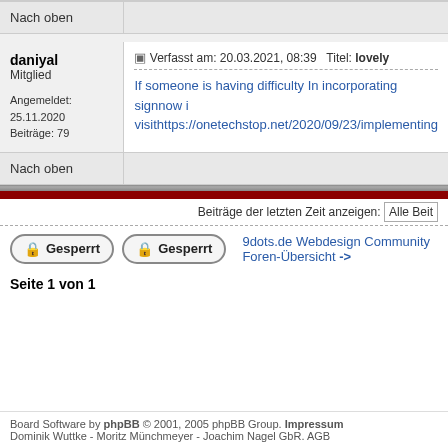Nach oben
daniyal
Mitglied
Angemeldet: 25.11.2020
Beiträge: 79
Verfasst am: 20.03.2021, 08:39   Titel: lovely
If someone is having difficulty In incorporating signnow i
visithttps://onetechstop.net/2020/09/23/implementing
Nach oben
Beiträge der letzten Zeit anzeigen:  Alle Beit
Gesperrt  Gesperrt  9dots.de Webdesign Community Foren-Übersicht ->
Seite 1 von 1
Board Software by phpBB © 2001, 2005 phpBB Group. Impressum
Dominik Wuttke - Moritz Münchmeyer - Joachim Nagel GbR. AGB